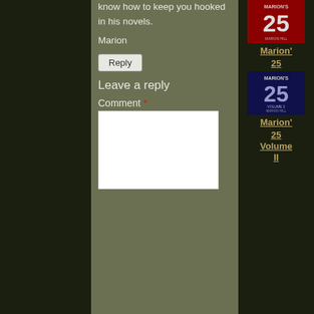know how to keep you hooked in his novels.
Marion
Reply
Leave a reply
Comment *
[Figure (illustration): Book cover for Marion's 25, volume 1 - red cover with large number 25 and MARION'S branding]
Marion' 25
[Figure (illustration): Book cover for Marion's 25, volume 2 - blue/dark cover with large number 25 and MARION'S Volume 2 branding]
Marion' 25 Volume II